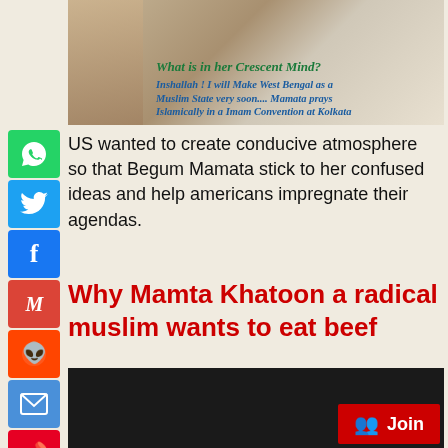[Figure (photo): Group of people in white clothing; overlay text reads 'What is in her Crescent Mind?' and 'Inshallah! I will Make West Bengal as a Muslim State very soon... Mamata prays Islamically in a Imam Convention at Kolkata']
US wanted to create conducive atmosphere so that Begum Mamata stick to her confused ideas and help americans impregnate their agendas.
Why Mamta Khatoon a radical muslim wants to eat beef
[Figure (photo): Dark/black image with a red Join button in the bottom right corner showing a group/people icon and the word Join]